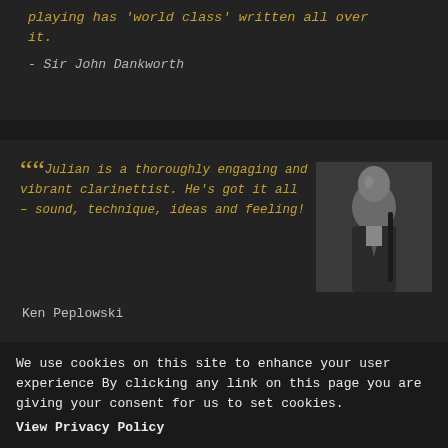playing has 'world class' written all over it.
- Sir John Dankworth
"Julian is a thoroughly engaging and vibrant clarinettist. He's got it all – sound, technique, ideas and feeling!
[Figure (photo): Black and white photo of Ken Peplowski, a man in a suit holding a clarinet]
Ken Peplowski
We use cookies on this site to enhance your user experience By clicking any link on this page you are giving your consent for us to set cookies.
View Privacy Policy